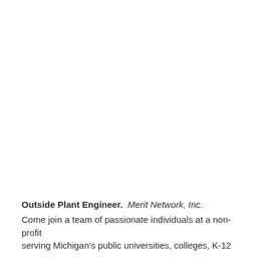Outside Plant Engineer.  Merit Network, Inc.
Come join a team of passionate individuals at a non-profit serving Michigan's public universities, colleges, K-12